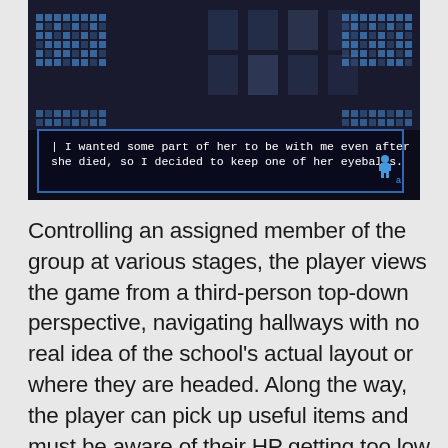[Figure (screenshot): A dark video game screenshot showing a pixel-art style dialog box with blue pixel decorations on the left and right sides. The dialog reads: 'I wanted some part of her to be with me even after she died, so I decided to keep one of her eyeballs.' A small blue character icon appears in the lower right of the dialog. The background shows a dark building exterior.]
Controlling an assigned member of the group at various stages, the player views the game from a third-person top-down perspective, navigating hallways with no real idea of the school's actual layout or where they are headed. Along the way, the player can pick up useful items and must be aware of their HP getting too low and leading to their untimely death. One of the most interesting aspects of Corpse Party's narrative is the fact that the characters can die in unexpected and avoidable ways that will earn them a 'Wrong Ending.' The game even rewards the player for